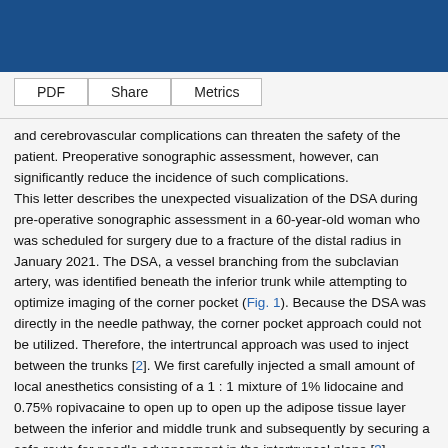PDF   Share   Metrics
and cerebrovascular complications can threaten the safety of the patient. Preoperative sonographic assessment, however, can significantly reduce the incidence of such complications. This letter describes the unexpected visualization of the DSA during pre-operative sonographic assessment in a 60-year-old woman who was scheduled for surgery due to a fracture of the distal radius in January 2021. The DSA, a vessel branching from the subclavian artery, was identified beneath the inferior trunk while attempting to optimize imaging of the corner pocket (Fig. 1). Because the DSA was directly in the needle pathway, the corner pocket approach could not be utilized. Therefore, the intertruncal approach was used to inject between the trunks [2]. We first carefully injected a small amount of local anesthetics consisting of a 1 : 1 mixture of 1% lidocaine and 0.75% ropivacaine to open up to open up the adipose tissue layer between the inferior and middle trunk and subsequently by securing a safe route for needle advancement in the intertruncal plane [3].